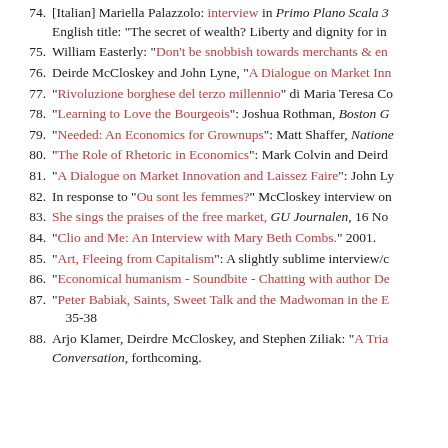74. [Italian] Mariella Palazzolo: interview in Primo Plano Scala 3 English title: "The secret of wealth? Liberty and dignity for in...
75. William Easterly: "Don't be snobbish towards merchants & en...
76. Deirde McCloskey and John Lyne, "A Dialogue on Market Inn...
77. "Rivoluzione borghese del terzo millennio" di Maria Teresa Co...
78. "Learning to Love the Bourgeois": Joshua Rothman, Boston G...
79. "Needed: An Economics for Grownups": Matt Shaffer, Natione...
80. "The Role of Rhetoric in Economics": Mark Colvin and Deirdr...
81. "A Dialogue on Market Innovation and Laissez Faire": John Ly...
82. In response to "Ou sont les femmes?" McCloskey interview on...
83. She sings the praises of the free market, GU Journalen, 16 No...
84. "Clio and Me: An Interview with Mary Beth Combs." 2001.
85. "Art, Fleeing from Capitalism": A slightly sublime interview/c...
86. "Economical humanism - Soundbite - Chatting with author De...
87. "Peter Babiak, Saints, Sweet Talk and the Madwoman in the E... 35-38
88. Arjo Klamer, Deirdre McCloskey, and Stephen Ziliak: "A Tria... Conversation, forthcoming.